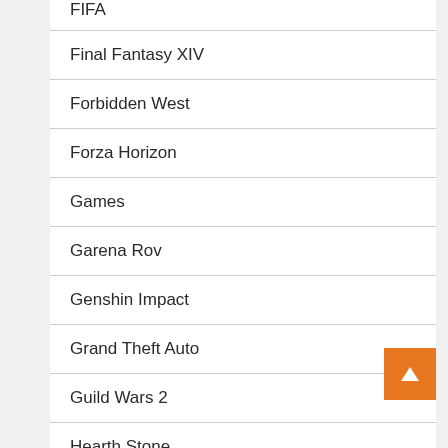FIFA
Final Fantasy XIV
Forbidden West
Forza Horizon
Games
Garena Rov
Genshin Impact
Grand Theft Auto
Guild Wars 2
Hearth Stone
Knockout City
League Of Legends